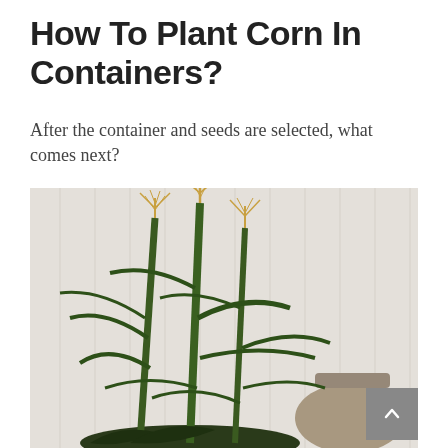How To Plant Corn In Containers?
After the container and seeds are selected, what comes next?
[Figure (photo): Tall corn plants with golden tassels growing in a container, set against a light wood plank wall background. A weathered wooden Adirondack chair is partially visible in the lower right. The plants are lush and green with broad leaves.]